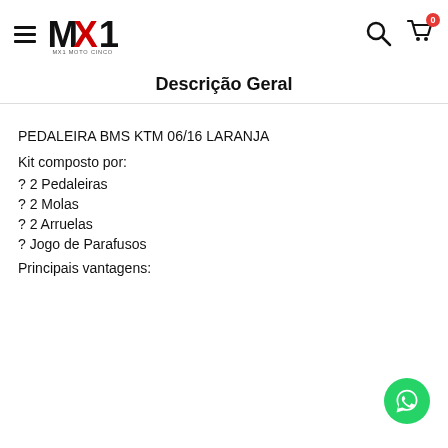MX1 Moto Cinco — navigation header with hamburger menu, logo, search and cart icons
Descrição Geral
PEDALEIRA BMS KTM 06/16 LARANJA
Kit composto por:
? 2 Pedaleiras
? 2 Molas
? 2 Arruelas
? Jogo de Parafusos
Principais vantagens: